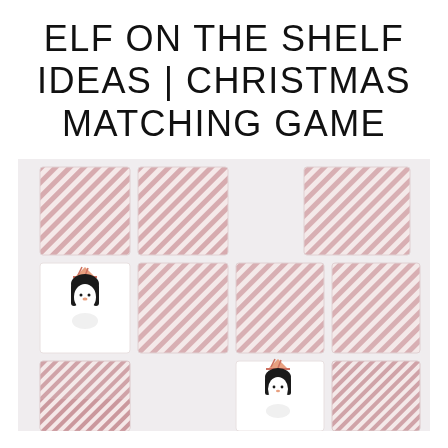ELF ON THE SHELF IDEAS | CHRISTMAS MATCHING GAME
[Figure (photo): Christmas matching game cards laid out on a light surface. Cards show a diagonal pink/red stripe pattern on the back. Two cards are flipped showing a cute illustrated penguin wearing a party hat. Cards are arranged in a grid-like pattern.]